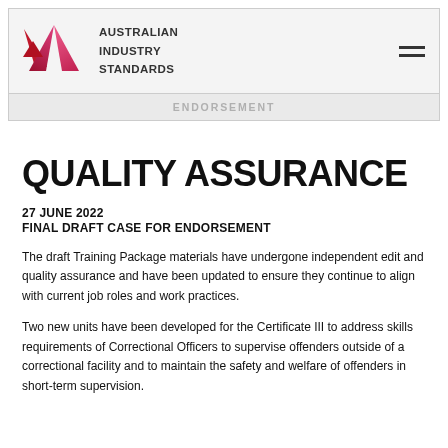[Figure (logo): Australian Industry Standards logo with stylized pink/red chevron/mountain graphic and bold text 'AUSTRALIAN INDUSTRY STANDARDS']
ENDORSEMENT
QUALITY ASSURANCE
27 JUNE 2022
FINAL DRAFT CASE FOR ENDORSEMENT
The draft Training Package materials have undergone independent edit and quality assurance and have been updated to ensure they continue to align with current job roles and work practices.
Two new units have been developed for the Certificate III to address skills requirements of Correctional Officers to supervise offenders outside of a correctional facility and to maintain the safety and welfare of offenders in short-term supervision.